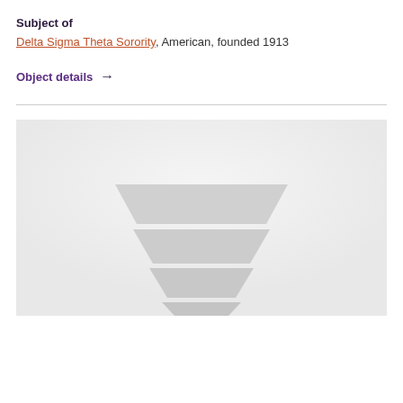Subject of
Delta Sigma Theta Sorority, American, founded 1913
Object details →
[Figure (photo): A gray placeholder image showing a stacked trapezoidal shape (hat or crown-like form) centered on a light gray background.]